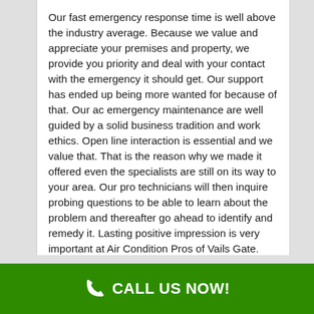Our fast emergency response time is well above the industry average. Because we value and appreciate your premises and property, we provide you priority and deal with your contact with the emergency it should get. Our support has ended up being more wanted for because of that. Our ac emergency maintenance are well guided by a solid business tradition and work ethics. Open line interaction is essential and we value that. That is the reason why we made it offered even the specialists are still on its way to your area. Our pro technicians will then inquire probing questions to be able to learn about the problem and thereafter go ahead to identify and remedy it. Lasting positive impression is very important at Air Condition Pros of Vails Gate. Modern technological innovation and the utilization of up-to-date equipment are tapped too to attain much better solution of ac repairs service.
Expert A/C Installation
CALL US NOW!